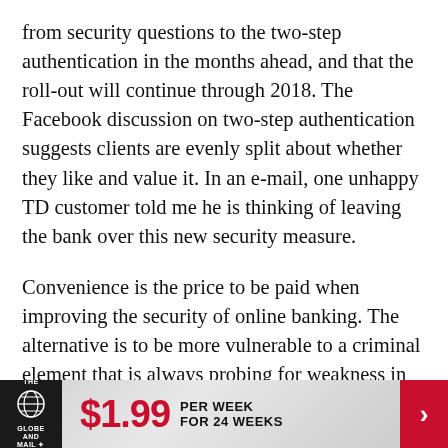from security questions to the two-step authentication in the months ahead, and that the roll-out will continue through 2018. The Facebook discussion on two-step authentication suggests clients are evenly split about whether they like and value it. In an e-mail, one unhappy TD customer told me he is thinking of leaving the bank over this new security measure.
Convenience is the price to be paid when improving the security of online banking. The alternative is to be more vulnerable to a criminal element that is always probing for weakness in online security. You should be more worried about a bank that isn't using two-step authentication than one that is
[Figure (other): The Globe and Mail subscription advertisement banner. Shows Globe and Mail logo on dark background on left, large red price '$1.99', text 'PER WEEK FOR 24 WEEKS', and a red arrow button on the right.]